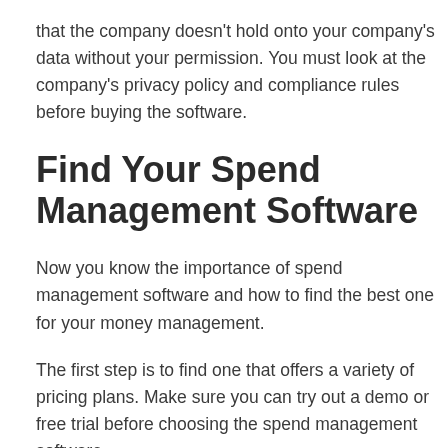that the company doesn't hold onto your company's data without your permission. You must look at the company's privacy policy and compliance rules before buying the software.
Find Your Spend Management Software
Now you know the importance of spend management software and how to find the best one for your money management.
The first step is to find one that offers a variety of pricing plans. Make sure you can try out a demo or free trial before choosing the spend management software.
You must choose one that offers budgeting features that you can see in real-time. It's best to choose a